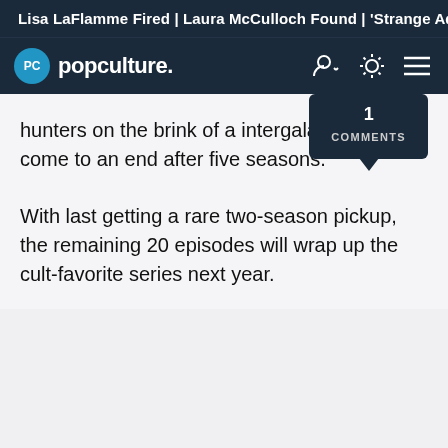Lisa LaFlamme Fired | Laura McCulloch Found | 'Strange Adv
popculture.
hunters on the brink of a intergalactic war will come to an end after five seasons.
With last getting a rare two-season pickup, the remaining 20 episodes will wrap up the cult-favorite series next year.